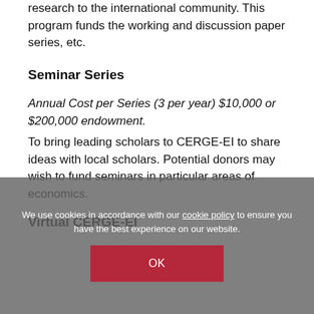research to the international community. This program funds the working and discussion paper series, etc.
Seminar Series
Annual Cost per Series (3 per year) $10,000 or $200,000 endowment. To bring leading scholars to CERGE-EI to share ideas with local scholars. Potential donors may wish to fund seminars in particular areas of economics.
Virtual CERGE-EI
We use cookies in accordance with our cookie policy to ensure you have the best experience on our website.